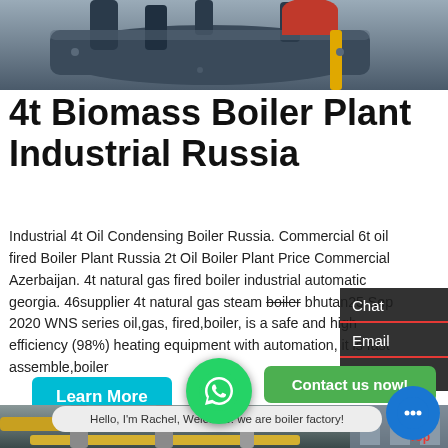[Figure (photo): Industrial boiler plant machinery photo at top of page]
4t Biomass Boiler Plant Industrial Russia
Industrial 4t Oil Condensing Boiler Russia. Commercial 6t oil fired Boiler Plant Russia 2t Oil Boiler Plant Price Commercial Azerbaijan. 4t natural gas fired boiler industrial automatic georgia. 46supplier 4t natural gas steam boiler bhutan25 Sep 2020 WNS series oil,gas, fired,boiler, is a safe and high efficiency (98%) heating equipment with automation, it is fast assemble,boiler
[Figure (photo): Industrial boiler plant with yellow pipes and metal structures at bottom of page]
Hello, I'm Rachel, Welcome! we are boiler factory!